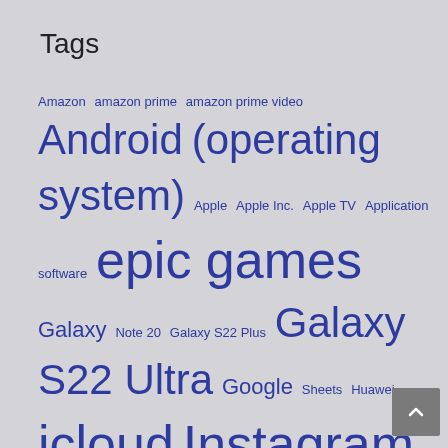Tags
Amazon amazon prime amazon prime video Android (operating system) Apple Apple Inc. Apple TV Application software epic games Galaxy Note 20 Galaxy S22 Plus Galaxy S22 Ultra Google Sheets Huawei icloud Instagram instant gaming ip address iPhone iphone 12 iphone 13 iphone 13 pro max macOS Microsoft Mobile app Mobile device Motorola office 365 outlook Pixel 6 Samsung Galaxy Samsung Galaxy Smartphone speedtest